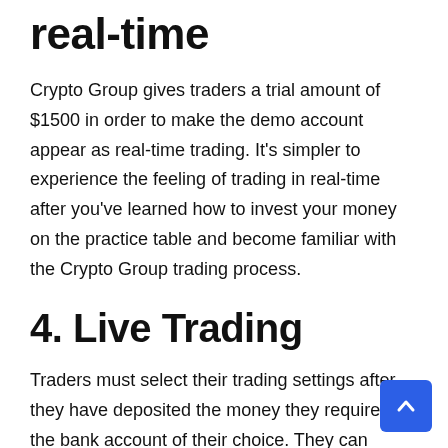real-time
Crypto Group gives traders a trial amount of $1500 in order to make the demo account appear as real-time trading. It's simpler to experience the feeling of trading in real-time after you've learned how to invest your money on the practice table and become familiar with the Crypto Group trading process.
4. Live Trading
Traders must select their trading settings after they have deposited the money they require to the bank account of their choice. They can choose the daily limit of their stop-loss limit, the